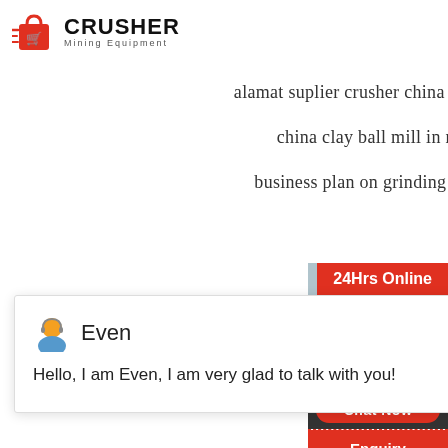[Figure (logo): Crusher Mining Equipment logo with red shopping bag icon and bold text]
alamat suplier crusher china yang dijakarta
china clay ball mill in rajasthan
business plan on grinding mill powder
24Hrs Online
Even
Hello, I am Even, I am very glad to talk with you!
Need & suggestions
Chat Now
Enquiry
limingjlmofen@sina.com